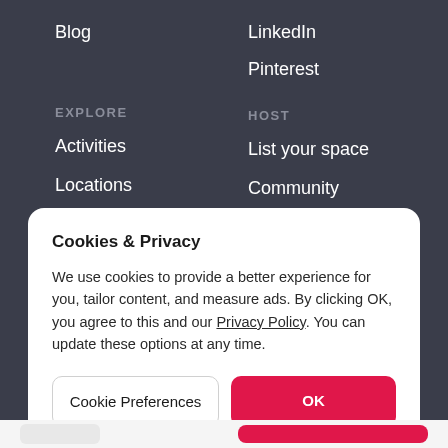Blog
LinkedIn
Pinterest
EXPLORE
Activities
Locations
HOST
List your space
Community
Cookies & Privacy
We use cookies to provide a better experience for you, tailor content, and measure ads. By clicking OK, you agree to this and our Privacy Policy. You can update these options at any time.
Cookie Preferences
OK